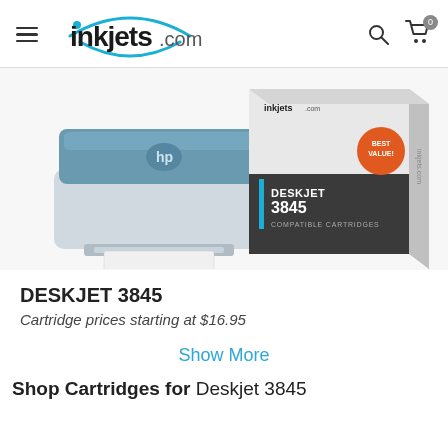inkjets.com
[Figure (photo): HP Deskjet 3845 printer on the left and an inkjets.com compatible cartridge box for Deskjet 3845 on the right. The box has a 'Best Value' orange badge.]
DESKJET 3845
Cartridge prices starting at $16.95
Show More
Shop Cartridges for Deskjet 3845